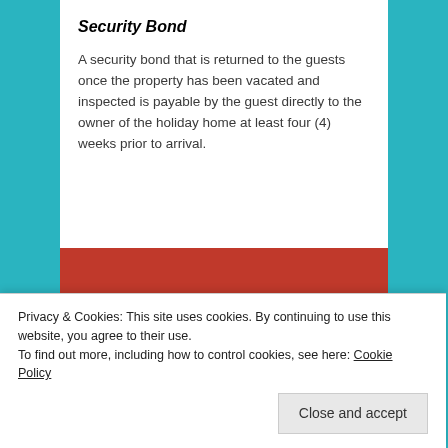Security Bond
A security bond that is returned to the guests once the property has been vacated and inspected is payable by the guest directly to the owner of the holiday home at least four (4) weeks prior to arrival.
[Figure (illustration): Red advertisement banner reading 'The best stories on the web – ours, and everyone else's.' with a black 'Start reading' button]
Privacy & Cookies: This site uses cookies. By continuing to use this website, you agree to their use.
To find out more, including how to control cookies, see here: Cookie Policy